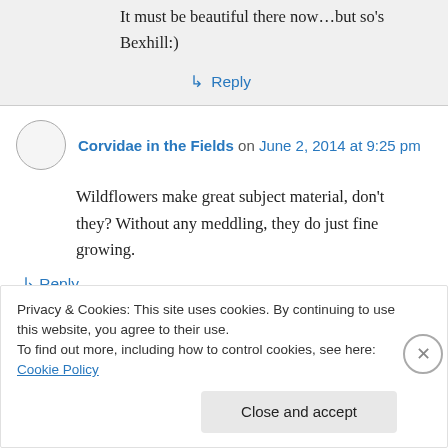It must be beautiful there now…but so's Bexhill:)
↳ Reply
Corvidae in the Fields on June 2, 2014 at 9:25 pm
Wildflowers make great subject material, don't they? Without any meddling, they do just fine growing.
↳ Reply
Privacy & Cookies: This site uses cookies. By continuing to use this website, you agree to their use.
To find out more, including how to control cookies, see here: Cookie Policy
Close and accept